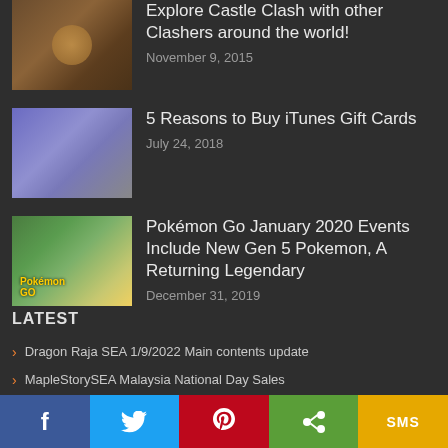Explore Castle Clash with other Clashers around the world! — November 9, 2015
5 Reasons to Buy iTunes Gift Cards — July 24, 2018
Pokémon Go January 2020 Events Include New Gen 5 Pokemon, A Returning Legendary — December 31, 2019
LATEST
Dragon Raja SEA 1/9/2022 Main contents update
MapleStorySEA Malaysia National Day Sales
กกกกกกกกกกก กกกกกก
CrossFire: Last Days of Summer